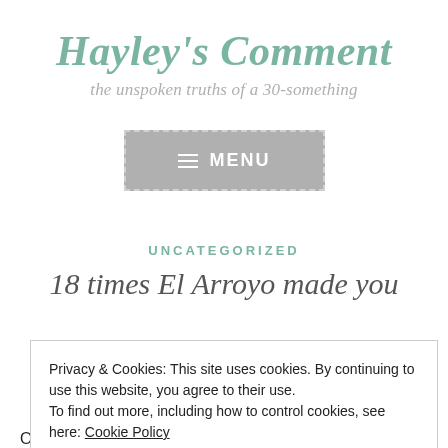Hayley's Comment
the unspoken truths of a 30-something
[Figure (other): Menu button with dashed border and hamburger icon, grey background, text MENU]
UNCATEGORIZED
18 times El Arroyo made you
Privacy & Cookies: This site uses cookies. By continuing to use this website, you agree to their use.
To find out more, including how to control cookies, see here: Cookie Policy
Close and accept
OK. Why don't more people talk about how awesome the